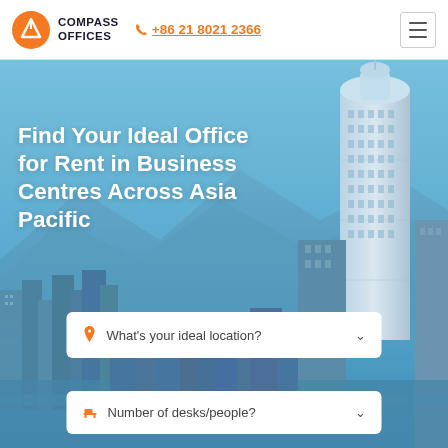COMPASS OFFICES | +86 21 8021 2366
[Figure (photo): Hong Kong skyline hero background showing tall modern skyscrapers including IFC tower against a blue sky, with mountains and harbor visible]
Find Your Ideal Office for Rent in Business Centres Across Asia Pacific
What's your ideal location?
Number of desks/people?